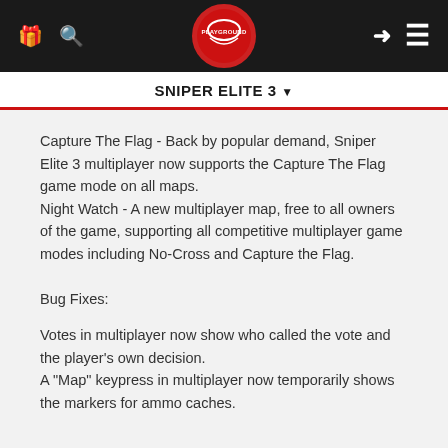PLAYGROUND navigation bar with logo, gift icon, search icon, login icon, menu icon
SNIPER ELITE 3 ▼
Capture The Flag - Back by popular demand, Sniper Elite 3 multiplayer now supports the Capture The Flag game mode on all maps.
Night Watch - A new multiplayer map, free to all owners of the game, supporting all competitive multiplayer game modes including No-Cross and Capture the Flag.
Bug Fixes:
Votes in multiplayer now show who called the vote and the player's own decision.
A "Map" keypress in multiplayer now temporarily shows the markers for ammo caches.